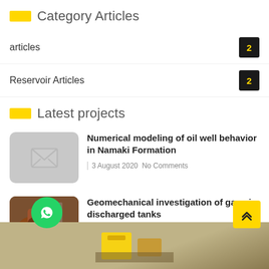Category Articles
articles  2
Reservoir Articles  2
Latest projects
Numerical modeling of oil well behavior in Namaki Formation
3 August 2020  No Comments
Geomechanical investigation of gaps in discharged tanks
3 August 2020  No Comments
[Figure (photo): Robotic industrial arm machinery photo thumbnail]
[Figure (photo): Footer background image showing heavy equipment]